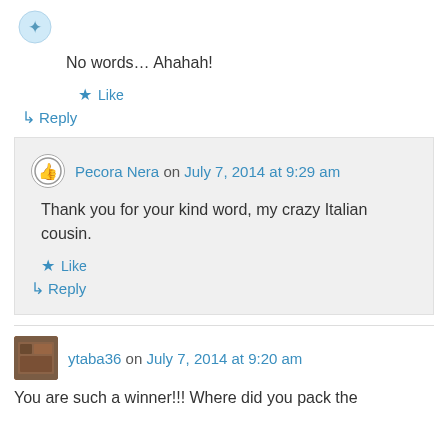No words… Ahahah!
★ Like
↳ Reply
Pecora Nera on July 7, 2014 at 9:29 am
Thank you for your kind word, my crazy Italian cousin.
★ Like
↳ Reply
ytaba36 on July 7, 2014 at 9:20 am
You are such a winner!!! Where did you pack the